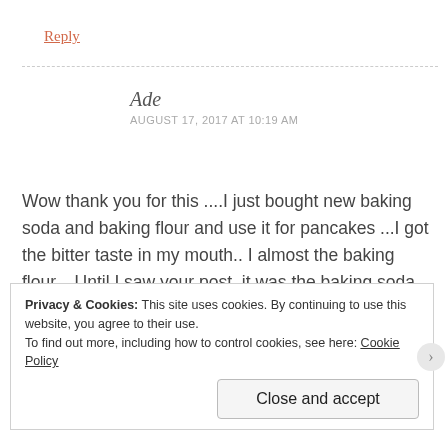Reply
Ade
AUGUST 17, 2017 AT 10:19 AM
Wow thank you for this ....I just bought new baking soda and baking flour and use it for pancakes ...I got the bitter taste in my mouth.. I almost the baking flour... Until I saw your post..it was the baking soda that is guilty.. 10years after
Privacy & Cookies: This site uses cookies. By continuing to use this website, you agree to their use.
To find out more, including how to control cookies, see here: Cookie Policy
Close and accept